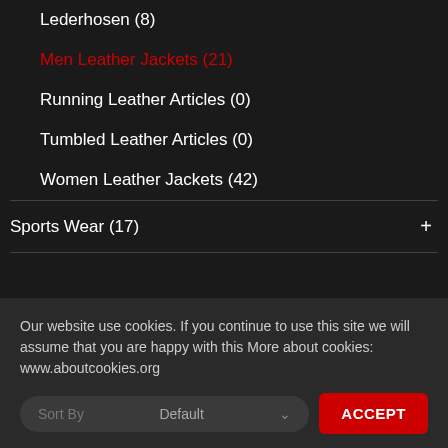Lederhosen (8)
Men Leather Jackets (21)
Running Leather Articles (0)
Tumbled Leather Articles (0)
Women Leather Jackets (42)
Sports Wear (17)
Our website use cookies. If you continue to use this site we will assume that you are happy with this More about cookies: www.aboutcookies.org
Sort By   Default   ACCEPT